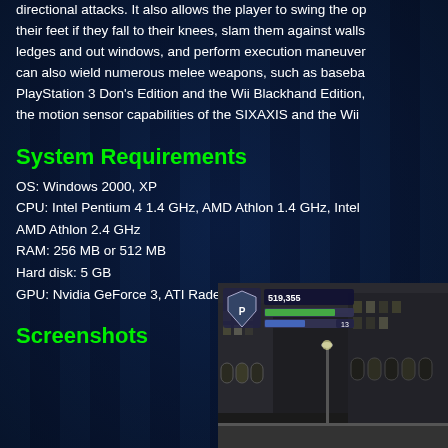directional attacks. It also allows the player to swing the op their feet if they fall to their knees, slam them against walls ledges and out windows, and perform execution maneuver can also wield numerous melee weapons, such as baseba PlayStation 3 Don's Edition and the Wii Blackhand Edition, the motion sensor capabilities of the SIXAXIS and the Wii
System Requirements
OS: Windows 2000, XP
CPU: Intel Pentium 4 1.4 GHz, AMD Athlon 1.4 GHz, Intel AMD Athlon 2.4 GHz
RAM: 256 MB or 512 MB
Hard disk: 5 GB
GPU: Nvidia GeForce 3, ATI Radeon 8500, Intel GMA 900
Screenshots
[Figure (screenshot): In-game screenshot showing city street scene with HUD overlay displaying score 519,355 and health/status bars, city buildings visible in background]